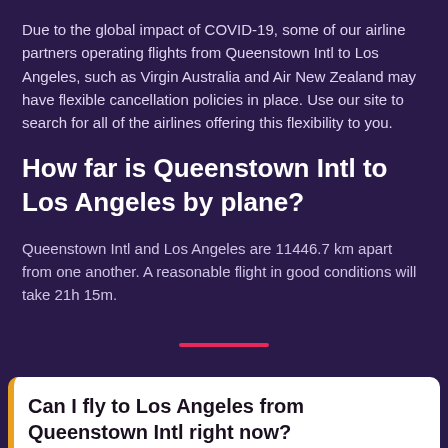Due to the global impact of COVID-19, some of our airline partners operating flights from Queenstown Intl to Los Angeles, such as Virgin Australia and Air New Zealand may have flexible cancellation policies in place. Use our site to search for all of the airlines offering this flexibility to you.
How far is Queenstown Intl to Los Angeles by plane?
Queenstown Intl and Los Angeles are 11446.7 km apart from one another. A reasonable flight in good conditions will take 21h 15m.
Can I fly to Los Angeles from Queenstown Intl right now?
Show more information on COVID restrictions